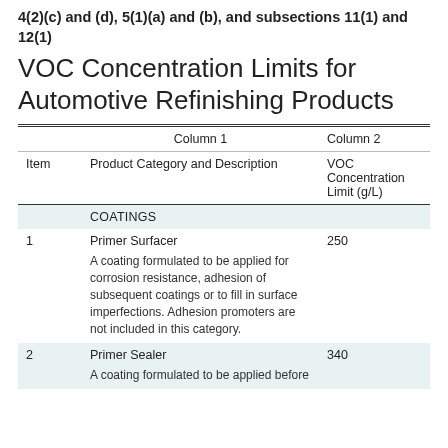4(2)(c) and (d), 5(1)(a) and (b), and subsections 11(1) and 12(1)
VOC Concentration Limits for Automotive Refinishing Products
| Item | Product Category and Description | VOC Concentration Limit (g/L) |
| --- | --- | --- |
|  | COATINGS |  |
| 1 | Primer Surfacer
A coating formulated to be applied for corrosion resistance, adhesion of subsequent coatings or to fill in surface imperfections. Adhesion promoters are not included in this category. | 250 |
| 2 | Primer Sealer
A coating formulated to be applied before... | 340 |